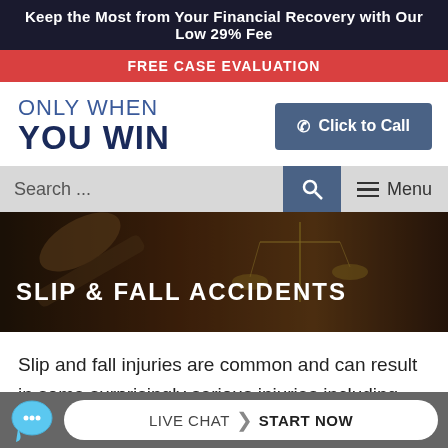Keep the Most from Your Financial Recovery with Our Low 29% Fee
FREE CASE EVALUATION
ONLY WHEN YOU WIN
Click to Call
Search ...
Menu
[Figure (photo): Background photo of a judge's gavel and scales of justice with overlay text 'SLIP & FALL ACCIDENTS']
SLIP & FALL ACCIDENTS
Slip and fall injuries are common and can result in some surprisingly serious injuries including broken bones, concussions, Herniated Discs, Spinal Cord Injury, and other serious injuries. If you experienced a slip
LIVE CHAT  START NOW